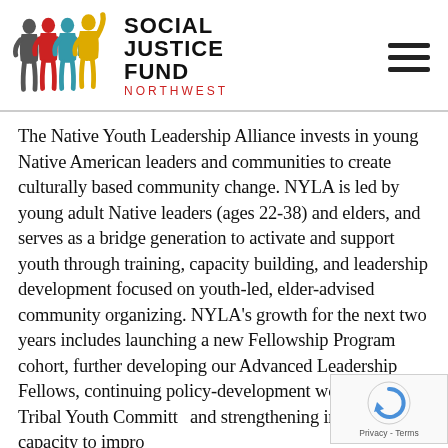[Figure (logo): Social Justice Fund Northwest logo — colored silhouettes of people (gray, red, teal, yellow) beside hand-drawn text 'SOCIAL JUSTICE FUND NORTHWEST']
The Native Youth Leadership Alliance invests in young Native American leaders and communities to create culturally based community change. NYLA is led by young adult Native leaders (ages 22-38) and elders, and serves as a bridge generation to activate and support youth through training, capacity building, and leadership development focused on youth-led, elder-advised community organizing. NYLA's growth for the next two years includes launching a new Fellowship Program cohort, further developing our Advanced Leadership Fellows, continuing policy-development work with Tribal Youth Committ… and strengthening internal capacity to impro…